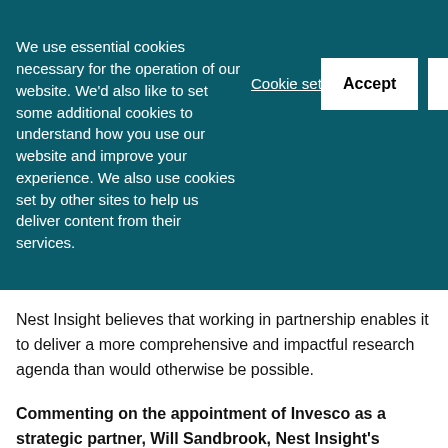We use essential cookies necessary for the operation of our website. We'd also like to set some additional cookies to understand how you use our website and improve your experience. We also use cookies set by other sites to help us deliver content from their services.
Cookie settings
Accept
Decline
Nest Insight believes that working in partnership enables it to deliver a more comprehensive and impactful research agenda than would otherwise be possible.
Commenting on the appointment of Invesco as a strategic partner, Will Sandbrook, Nest Insight's